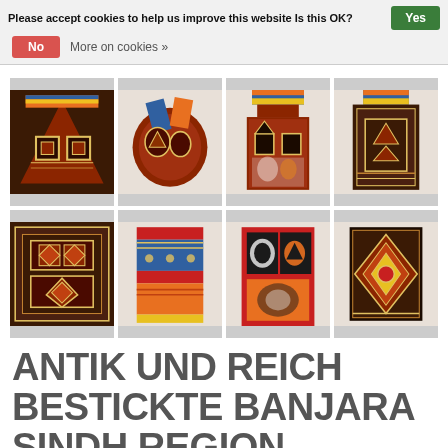Please accept cookies to help us improve this website Is this OK?  Yes  No  More on cookies »
[Figure (photo): Six colorful embroidered Banjara bags from the Sindh region displayed in a 2x3 grid. The bags feature traditional geometric patterns with red, blue, yellow, gold, and dark brown threads with mirror work and embroidery.]
ANTIK UND REICH BESTICKTE BANJARA SINDH REGION STICKEREI AUS